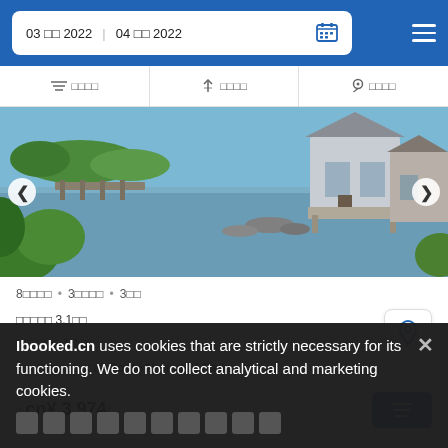03 □□ 2022   04 □□ 2022
□□□□   ↑↓ □□□□   □ □□□□
[Figure (photo): Waterfront house with gray siding, dock, and surrounding greenery with calm water in foreground]
8□□□□ • 3□□□□ • 3□□
□□□□□ 3.1□□
□□□□□□ 1.1□□
□□□3□□□□□□□□□Foote Memorial Park□
≡ cn¥ 3 974/□
Ibooked.cn uses cookies that are strictly necessary for its functioning. We do not collect analytical and marketing cookies.